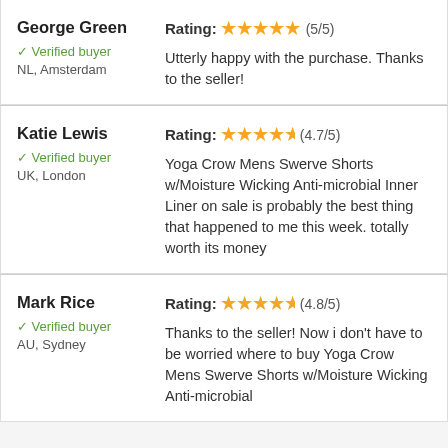George Green | Verified buyer | NL, Amsterdam | Rating: (5/5) | Utterly happy with the purchase. Thanks to the seller!
Katie Lewis | Verified buyer | UK, London | Rating: (4.7/5) | Yoga Crow Mens Swerve Shorts w/Moisture Wicking Anti-microbial Inner Liner on sale is probably the best thing that happened to me this week. totally worth its money
Mark Rice | Verified buyer | AU, Sydney | Rating: (4.8/5) | Thanks to the seller! Now i don't have to be worried where to buy Yoga Crow Mens Swerve Shorts w/Moisture Wicking Anti-microbial